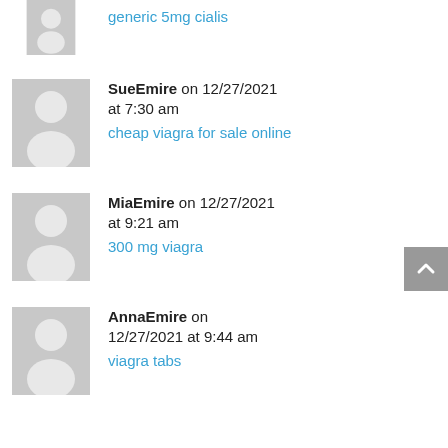generic 5mg cialis
SueEmire on 12/27/2021 at 7:30 am
cheap viagra for sale online
MiaEmire on 12/27/2021 at 9:21 am
300 mg viagra
AnnaEmire on 12/27/2021 at 9:44 am
viagra tabs